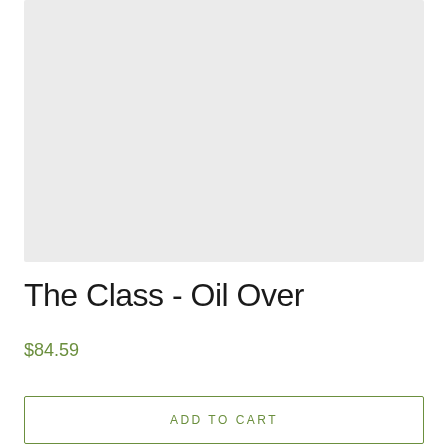[Figure (other): Product image placeholder — light gray rectangle]
The Class - Oil Over
$84.59
ADD TO CART